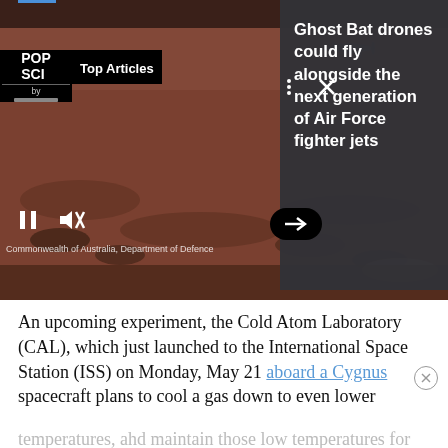[Figure (screenshot): Aerial video still showing Australian outback landscape from above, with a drone/aircraft visible in the upper portion. Overlay UI elements include a POP SCI 'Top Articles' banner, dark info panel with article headline, video playback controls (pause, mute, arrow button), menu dots and close X icons, and a copyright watermark reading 'Commonwealth of Australia, Department of Defence'.]
Ghost Bat drones could fly alongside the next generation of Air Force fighter jets
Commonwealth of Australia, Department of Defence
An upcoming experiment, the Cold Atom Laboratory (CAL), which just launched to the International Space Station (ISS) on Monday, May 21 aboard a Cygnus spacecraft plans to cool a gas down to even lower temperatures, ahd maintain those low temperatures for much longer times than could be achieved on